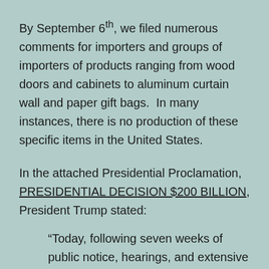By September 6th, we filed numerous comments for importers and groups of importers of products ranging from wood doors and cabinets to aluminum curtain wall and paper gift bags.  In many instances, there is no production of these specific items in the United States.
In the attached Presidential Proclamation, PRESIDENTIAL DECISION $200 BILLION, President Trump stated:
“Today, following seven weeks of public notice, hearings, and extensive